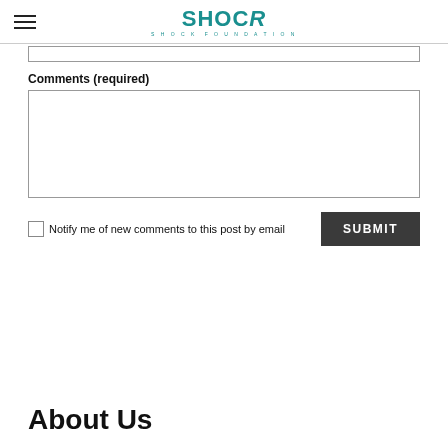[Figure (logo): SHOCK Foundation logo with teal text]
Comments (required)
Notify me of new comments to this post by email
About Us